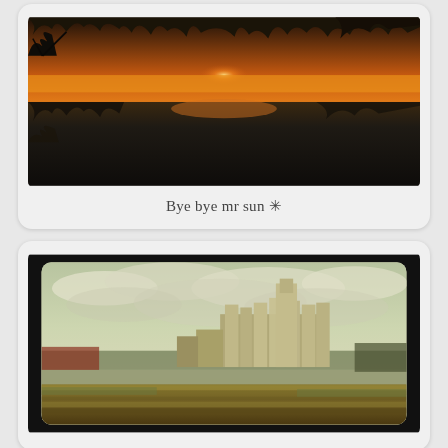[Figure (photo): Sunset reflected on a still body of water with dark silhouetted trees along the top edge. Orange and amber glow near the horizon, dark water below.]
Bye bye mr sun ✷
[Figure (photo): Industrial grain elevator or silo complex viewed from a moving vehicle. Overcast yellow-green sky with motion blur in the foreground grassy area. Black border frame with rounded corners.]